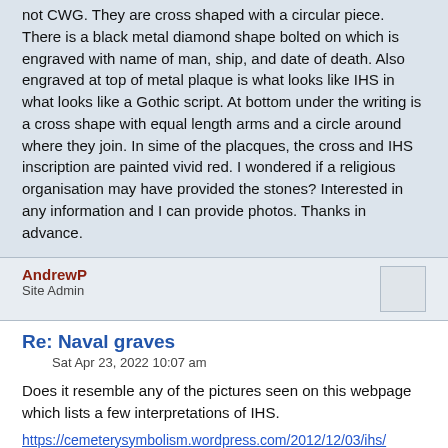not CWG. They are cross shaped with a circular piece. There is a black metal diamond shape bolted on which is engraved with name of man, ship, and date of death. Also engraved at top of metal plaque is what looks like IHS in what looks like a Gothic script. At bottom under the writing is a cross shape with equal length arms and a circle around where they join. In sime of the placques, the cross and IHS inscription are painted vivid red. I wondered if a religious organisation may have provided the stones? Interested in any information and I can provide photos. Thanks in advance.
AndrewP
Site Admin
Re: Naval graves
Sat Apr 23, 2022 10:07 am
Does it resemble any of the pictures seen on this webpage which lists a few interpretations of IHS.
https://cemeterysymbolism.wordpress.com/2012/12/03/ihs/
ALI the best,
AndrewP